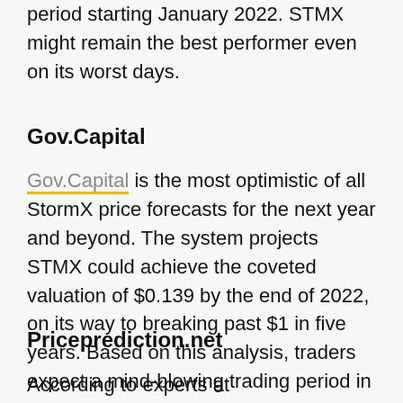period starting January 2022. STMX might remain the best performer even on its worst days.
Gov.Capital
Gov.Capital is the most optimistic of all StormX price forecasts for the next year and beyond. The system projects STMX could achieve the coveted valuation of $0.139 by the end of 2022, on its way to breaking past $1 in five years. Based on this analysis, traders expect a mind-blowing trading period in 2022.
Priceprediction.net
According to experts at Priceprediction.net,